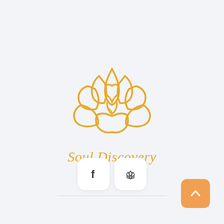[Figure (logo): Gold lotus flower outline logo with an infinity/person symbol in the center, above the text 'Soul Discovery' in gold italic script]
Soul Discovery
[Figure (infographic): Social media buttons: Facebook 'f' icon button and a lotus/meditation icon button, both white rounded square buttons. An orange rounded square scroll-to-top button with upward chevron in the bottom right corner.]